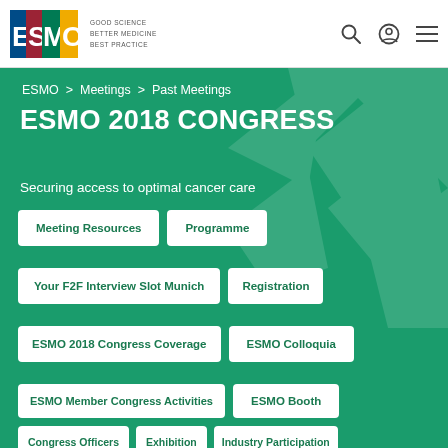ESMO | GOOD SCIENCE BETTER MEDICINE BEST PRACTICE
ESMO > Meetings > Past Meetings
ESMO 2018 CONGRESS
Securing access to optimal cancer care
Meeting Resources
Programme
Your F2F Interview Slot Munich
Registration
ESMO 2018 Congress Coverage
ESMO Colloquia
ESMO Member Congress Activities
ESMO Booth
Congress Officers
Exhibition
Industry Participation
Press & Media
Abstracts
Accommodation
Contacts
Industry Sponsored Satellite Symposia